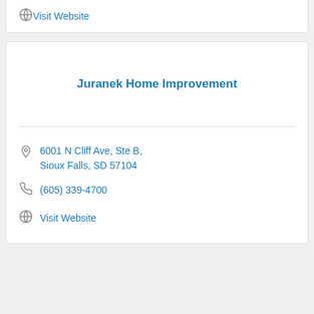Visit Website
Juranek Home Improvement
6001 N Cliff Ave, Ste B, Sioux Falls, SD 57104
(605) 339-4700
Visit Website